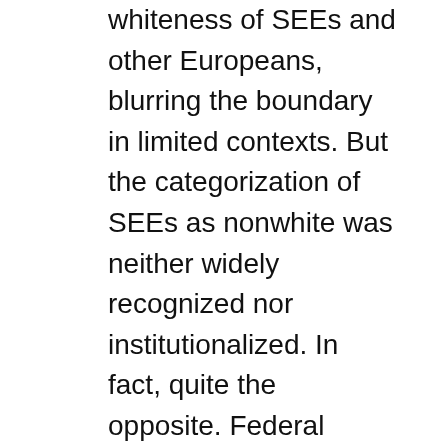whiteness of SEEs and other Europeans, blurring the boundary in limited contexts. But the categorization of SEEs as nonwhite was neither widely recognized nor institutionalized. In fact, quite the opposite. Federal agencies including the census, the military, the immigration service, the Civilian Conservation Corps, and others all counted by race and placed SEEs firmly within the white category. No court ever denied Europeans the right to naturalize as free white persons at least in part because race scientists and the “common man” placed SEEs within the boundaries of whiteness. Furthermore, when SEEs saw Whites Only signs in movie theaters, restaurants, swimming pools, playgrounds, buses and streetcars, and at places of employment, they could—with near certainty—be confident that those signs were not meant to exclude them. Similarly, when an immigrant